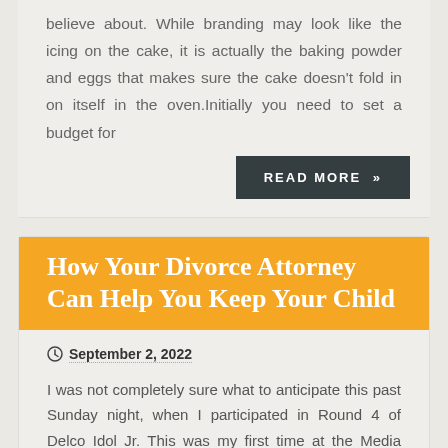believe about. While branding may look like the icing on the cake, it is actually the baking powder and eggs that makes sure the cake doesn't fold in on itself in the oven.Initially you need to set a budget for
READ MORE »
How Your Divorce Attorney Can Help You Keep Your Child
September 2, 2022
I was not completely sure what to anticipate this past Sunday night, when I participated in Round 4 of Delco Idol Jr. This was my first time at the Media Theatre for either the Delco Idol Jr. or Delco Idol